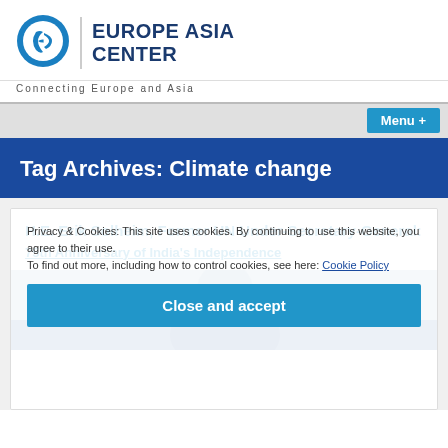[Figure (logo): Europe Asia Center circular logo with stylized 'EA' letters in blue]
EUROPE ASIA CENTER
Connecting Europe and Asia
Menu +
Tag Archives: Climate change
Privacy & Cookies: This site uses cookies. By continuing to use this website, you agree to their use.
To find out more, including how to control cookies, see here: Cookie Policy
H.E. Erik Solheim, Former UN Under-Secretary-General: 75th Anniversary of India's Independence
Close and accept
[Figure (photo): Partial photo of a person's face, bottom of the card]